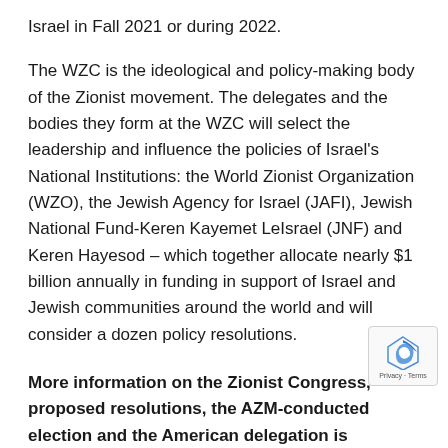Israel in Fall 2021 or during 2022.
The WZC is the ideological and policy-making body of the Zionist movement. The delegates and the bodies they form at the WZC will select the leadership and influence the policies of Israel's National Institutions: the World Zionist Organization (WZO), the Jewish Agency for Israel (JAFI), Jewish National Fund-Keren Kayemet LeIsrael (JNF) and Keren Hayesod – which together allocate nearly $1 billion annually in funding in support of Israel and Jewish communities around the world and will consider a dozen policy resolutions.
More information on the Zionist Congress, proposed resolutions, the AZM-conducted election and the American delegation is available by clicking here.
The American Zionist Movement (AZM) is comprised of 33